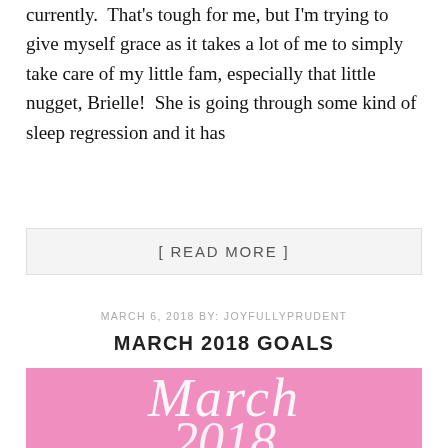currently.  That's tough for me, but I'm trying to give myself grace as it takes a lot of me to simply take care of my little fam, especially that little nugget, Brielle!  She is going through some kind of sleep regression and it has
[ READ MORE ]
MARCH 6, 2018 BY: JOYFULLYPRUDENT
MARCH 2018 GOALS
[Figure (illustration): Pink background decorative image with white cursive script text reading 'March' and partially visible '2018' below.]